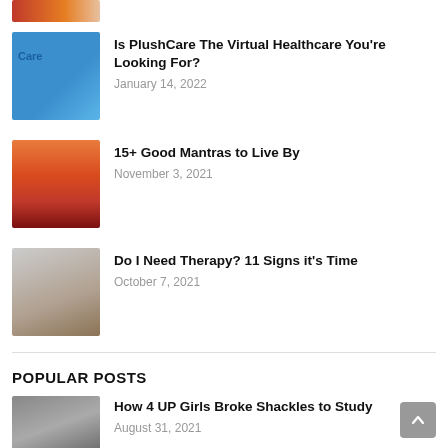[Figure (photo): Partial thumbnail image at top of page - cropped article image]
[Figure (photo): PlushCare blue healthcare article thumbnail with doctor figure]
Is PlushCare The Virtual Healthcare You're Looking For?
January 14, 2022
[Figure (photo): Mantras meditation article thumbnail - silhouettes at sunset]
15+ Good Mantras to Live By
November 3, 2021
[Figure (photo): Therapy article thumbnail - man holding head in hands]
Do I Need Therapy? 11 Signs it's Time
October 7, 2021
POPULAR POSTS
[Figure (photo): Popular post thumbnail - group of girls]
How 4 UP Girls Broke Shackles to Study
August 31, 2021